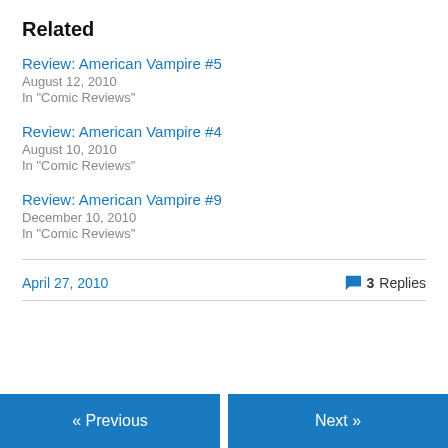Related
Review: American Vampire #5
August 12, 2010
In "Comic Reviews"
Review: American Vampire #4
August 10, 2010
In "Comic Reviews"
Review: American Vampire #9
December 10, 2010
In "Comic Reviews"
April 27, 2010    💬 3 Replies
« Previous    Next »